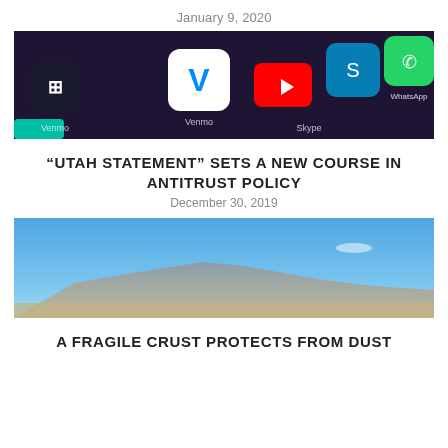January 9, 2020
[Figure (photo): Close-up of a smartphone screen showing various app icons including Venmo, YouTube, Skype, and WhatsApp on a dark background.]
“UTAH STATEMENT” SETS A NEW COURSE IN ANTITRUST POLICY
December 30, 2019
[Figure (photo): Landscape photo showing mountains under a clear blue sky, arid terrain in the foreground.]
A FRAGILE CRUST PROTECTS FROM DUST